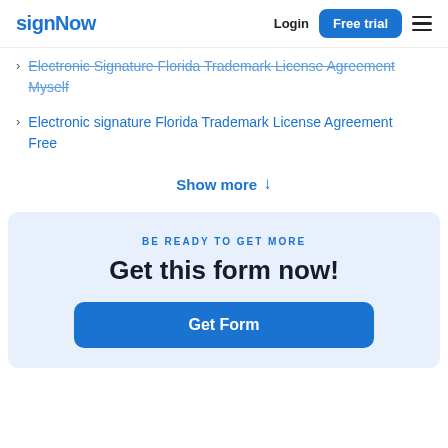signNow | Login | Free trial
Electronic Signature Florida Trademark License Agreement Myself
Electronic signature Florida Trademark License Agreement Free
Show more ↓
BE READY TO GET MORE
Get this form now!
Get Form